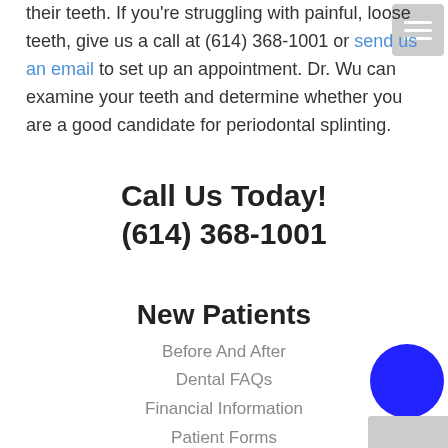their teeth. If you're struggling with painful, loose teeth, give us a call at (614) 368-1001 or send us an email to set up an appointment. Dr. Wu can examine your teeth and determine whether you are a good candidate for periodontal splinting.
Call Us Today!
(614) 368-1001
New Patients
Before And After
Dental FAQs
Financial Information
Patient Forms